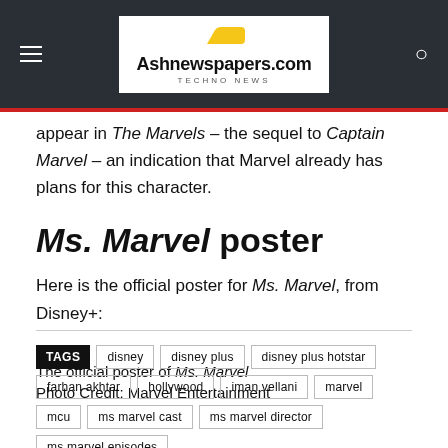Ashnewspapers.com TECHNO NEWS
appear in The Marvels – the sequel to Captain Marvel – an indication that Marvel already has plans for this character.
Ms. Marvel poster
Here is the official poster for Ms. Marvel, from Disney+:
.
The official poster of Ms. Marvel
Photo Credit: Marvel Entertainment
TAGS: disney, disney plus, disney plus hotstar, farhan akhtar, hollywood, iman vellani, marvel, mcu, ms marvel cast, ms marvel director, ms marvel episodes